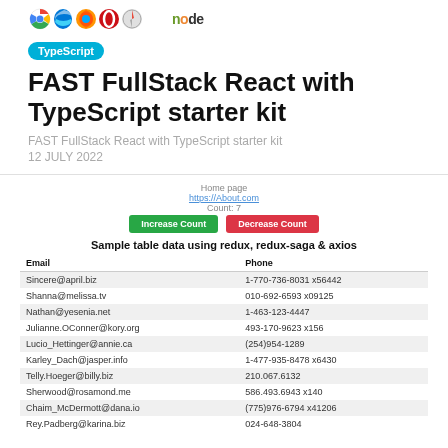[Figure (logo): Browser icons (Chrome, Edge, Firefox, Opera, Safari) and Node.js text logo]
TypeScript
FAST FullStack React with TypeScript starter kit
FAST FullStack React with TypeScript starter kit
12 JULY 2022
Home page
https://about.com
Count: 7
[Figure (screenshot): Two buttons: green Increase Count and red Decrease Count]
| Email | Phone |
| --- | --- |
| Sincere@april.biz | 1-770-736-8031 x56442 |
| Shanna@melissa.tv | 010-692-6593 x09125 |
| Nathan@yesenia.net | 1-463-123-4447 |
| Julianne.OConner@kory.org | 493-170-9623 x156 |
| Lucio_Hettinger@annie.ca | (254)954-1289 |
| Karley_Dach@jasper.info | 1-477-935-8478 x6430 |
| Telly.Hoeger@billy.biz | 210.067.6132 |
| Sherwood@rosamond.me | 586.493.6943 x140 |
| Chaim_McDermott@dana.io | (775)976-6794 x41206 |
| Rey.Padberg@karina.biz | 024-648-3804 |